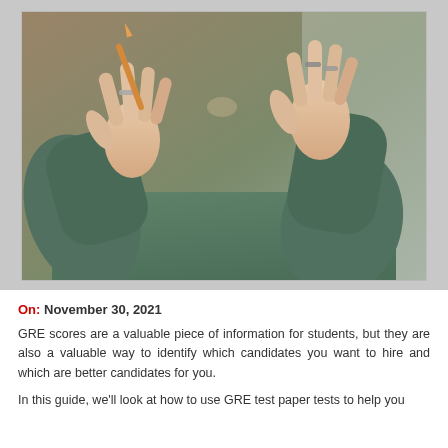[Figure (photo): Close-up photo of a person wearing a green sweatshirt, with both hands raised showing fingers, wearing rings. The background is a warm brownish-tan color. The image shows hands and upper torso from below chin level.]
On: November 30, 2021
GRE scores are a valuable piece of information for students, but they are also a valuable way to identify which candidates you want to hire and which are better candidates for you.
In this guide, we'll look at how to use GRE test paper tests to help you